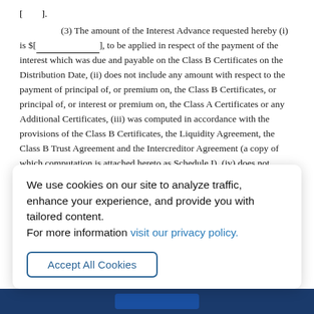[        ].
(3) The amount of the Interest Advance requested hereby (i) is $[____________], to be applied in respect of the payment of the interest which was due and payable on the Class B Certificates on the Distribution Date, (ii) does not include any amount with respect to the payment of principal of, or premium on, the Class B Certificates, or principal of, or interest or premium on, the Class A Certificates or any Additional Certificates, (iii) was computed in accordance with the provisions of the Class B Certificates, the Liquidity Agreement, the Class B Trust Agreement and the Intercreditor Agreement (a copy of which computation is attached hereto as Schedule I), (iv) does not exceed the Maximum Available Commitment on the date hereof, (v) does not include any amount of interest which was due and payable on the Class B Certificates on such Distribution Date but which
We use cookies on our site to analyze traffic, enhance your experience, and provide you with tailored content.
For more information visit our privacy policy.
Accept All Cookies